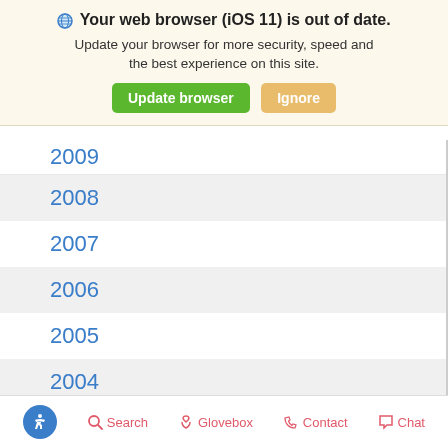Your web browser (iOS 11) is out of date. Update your browser for more security, speed and the best experience on this site. [Update browser] [Ignore]
2009
2008
2007
2006
2005
2004
2003
2002
2001
2000
1999
Search  Glovebox  Contact  Chat